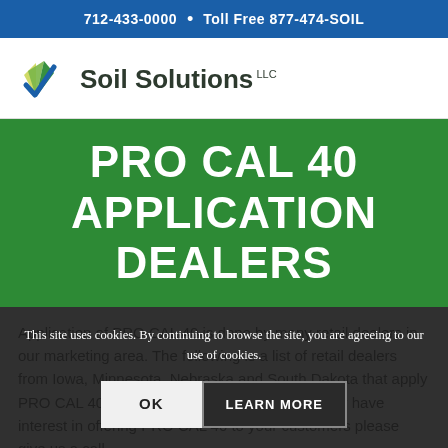712-433-0000  •  Toll Free 877-474-SOIL
[Figure (logo): Soil Solutions LLC logo with stylized green leaf/checkmark icon and company name]
PRO CAL 40 APPLICATION DEALERS
Application of PRO CAL 40 is done by many retail dealers in our marketing area. The following is a list of retail dealers from Iowa, Minnesota, Nebraska and South Dakota that apply PRO CAL 40 in your area. If you as a retail dealer have interest in offering PRO CAL 40 to your customers please give us a call.
This site uses cookies. By continuing to browse the site, you are agreeing to our use of cookies.